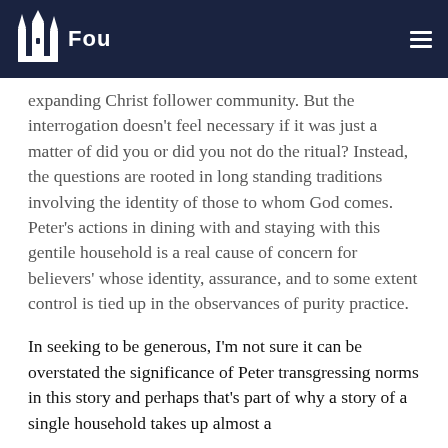Fou
expanding Christ follower community. But the interrogation doesn't feel necessary if it was just a matter of did you or did you not do the ritual? Instead, the questions are rooted in long standing traditions involving the identity of those to whom God comes. Peter's actions in dining with and staying with this gentile household is a real cause of concern for believers' whose identity, assurance, and to some extent control is tied up in the observances of purity practice.
In seeking to be generous, I'm not sure it can be overstated the significance of Peter transgressing norms in this story and perhaps that's part of why a story of a single household takes up almost a